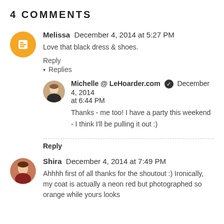4 COMMENTS
Melissa  December 4, 2014 at 5:27 PM
Love that black dress & shoes.
Reply
Replies
Michelle @ LeHoarder.com  December 4, 2014 at 6:44 PM
Thanks - me too! I have a party this weekend - I think I'll be pulling it out :)
Reply
Shira  December 4, 2014 at 7:49 PM
Ahhhh first of all thanks for the shoutout :) Ironically, my coat is actually a neon red but photographed so orange while yours looks